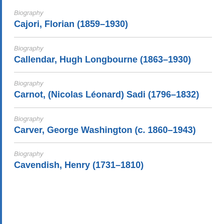Biography
Cajori, Florian (1859–1930)
Biography
Callendar, Hugh Longbourne (1863–1930)
Biography
Carnot, (Nicolas Léonard) Sadi (1796–1832)
Biography
Carver, George Washington (c. 1860–1943)
Biography
Cavendish, Henry (1731–1810)